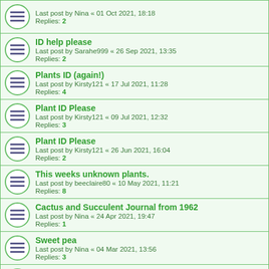Last post by Nina « 01 Oct 2021, 18:18
Replies: 2
ID help please
Last post by Sarahe999 « 26 Sep 2021, 13:35
Replies: 2
Plants ID (again!)
Last post by Kirsty121 « 17 Jul 2021, 11:28
Replies: 4
Plant ID Please
Last post by Kirsty121 « 09 Jul 2021, 12:32
Replies: 3
Plant ID Please
Last post by Kirsty121 « 26 Jun 2021, 16:04
Replies: 2
This weeks unknown plants.
Last post by beeclaire80 « 10 May 2021, 11:21
Replies: 8
Cactus and Succulent Journal from 1962
Last post by Nina « 24 Apr 2021, 19:47
Replies: 1
Sweet pea
Last post by Nina « 04 Mar 2021, 13:56
Replies: 3
Teasle or bristly ox tongue?
Last post by beeclaire80 « 23 Feb 2021, 09:59
Replies: 2
Ragwort or Prickly Sow Thistle?
Last post by Bex « 17 Feb 2021, 12:55
Replies: 3
Plant ID please